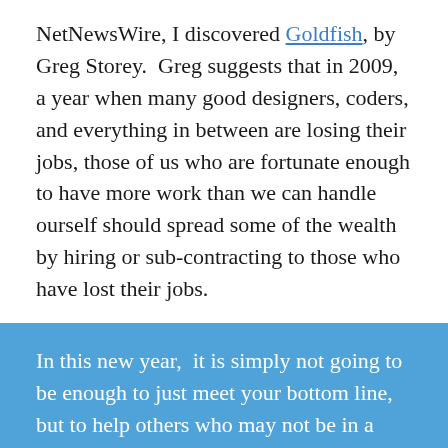NetNewsWire, I discovered Goldfish, by Greg Storey.  Greg suggests that in 2009, a year when many good designers, coders, and everything in between are losing their jobs, those of us who are fortunate enough to have more work than we can handle ourself should spread some of the wealth by hiring or sub-contracting to those who have lost their jobs.
In this new year,  it is simply not going to be enough to just meet your bottom line, but to help others who may not be in a position to be so entrepreneurial or carefree.